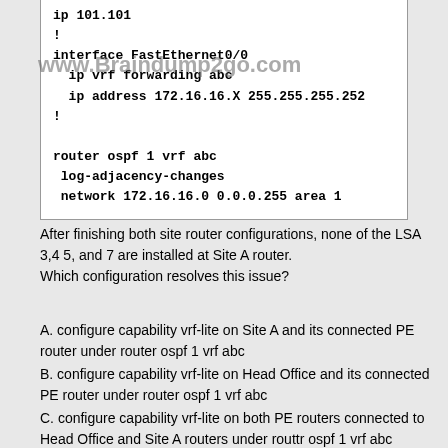[Figure (screenshot): Code configuration box showing router configuration commands: ip 101.101, !, interface FastEthernet0/0, ip vrf forwarding abc, ip address 172.16.16.X 255.255.255.252, !, router ospf 1 vrf abc, log-adjacency-changes, network 172.16.16.0 0.0.0.255 area 1]
After finishing both site router configurations, none of the LSA 3,4 5, and 7 are installed at Site A router. Which configuration resolves this issue?
A. configure capability vrf-lite on Site A and its connected PE router under router ospf 1 vrf abc
B. configure capability vrf-lite on Head Office and its connected PE router under router ospf 1 vrf abc
C. configure capability vrf-lite on both PE routers connected to Head Office and Site A routers under routtr ospf 1 vrf abc
D. configure capability vrf-lite on Head Office and Site A routers under router ospf 1 vrf abc